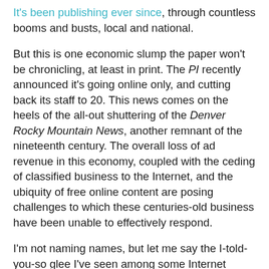It's been publishing ever since, through countless booms and busts, local and national.
But this is one economic slump the paper won't be chronicling, at least in print. The PI recently announced it's going online only, and cutting back its staff to 20. This news comes on the heels of the all-out shuttering of the Denver Rocky Mountain News, another remnant of the nineteenth century. The overall loss of ad revenue in this economy, coupled with the ceding of classified business to the Internet, and the ubiquity of free online content are posing challenges to which these centuries-old business have been unable to effectively respond.
I'm not naming names, but let me say the I-told-you-so glee I've seen among some Internet boosters is truly disappointing. Are we really ready to give up on print? It seems short-sighted. As David Simon recently pointed out, we need our newspapers to keep an eye